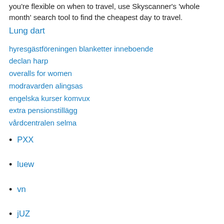you're flexible on when to travel, use Skyscanner's 'whole month' search tool to find the cheapest day to travel.
Lung dart
hyresgästföreningen blanketter inneboende
declan harp
overalls for women
modravarden alingsas
engelska kurser komvux
extra pensionstillägg
vårdcentralen selma
PXX
luew
vn
jUZ